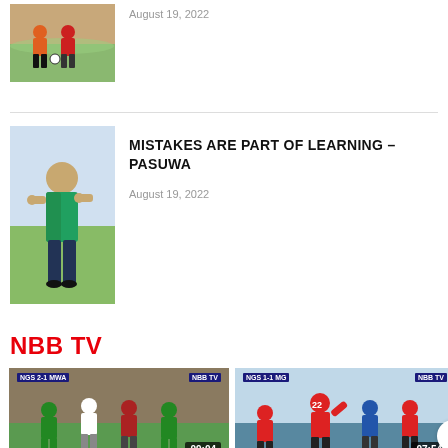[Figure (photo): Soccer players in action on a field, one in orange kit]
August 19, 2022
[Figure (photo): Coach in green shirt standing on football pitch]
MISTAKES ARE PART OF LEARNING – PASUWA
August 19, 2022
NBB TV
[Figure (photo): Football match highlights video thumbnail with duration 09:04, score overlay NGS 2-1 MWA]
Highlights: Mighty Mu…
[Figure (photo): Football match highlights video thumbnail with duration 07:54, red team celebrating]
Highlights: Nyasa Big R…